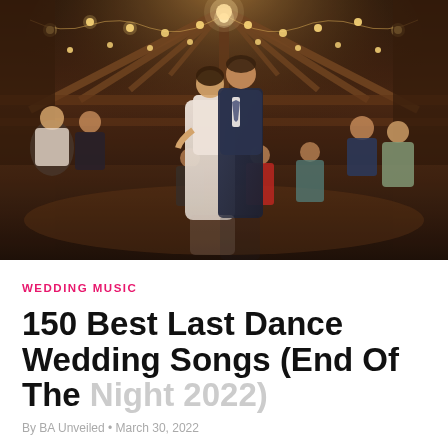[Figure (photo): Couple dancing as bride and groom in a rustic barn wedding venue with string lights overhead, surrounded by wedding guests dancing. Wooden beam ceiling, warm amber lighting, reflective wooden dance floor.]
WEDDING MUSIC
150 Best Last Dance Wedding Songs (End Of The Night 2022)
By BA Unveiled • March 30, 2022